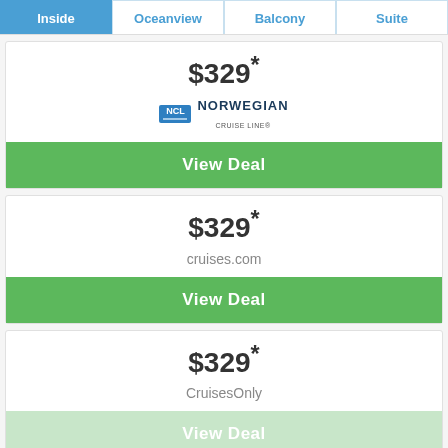Inside | Oceanview | Balcony | Suite
$329*
[Figure (logo): Norwegian Cruise Line logo with NCL blue box and text]
View Deal
$329*
cruises.com
View Deal
$329*
CruisesOnly
View Deal